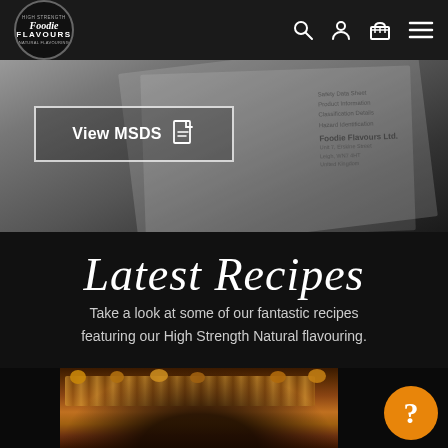[Figure (screenshot): Foodie Flavours website navigation bar with logo and icons for search, account, cart, and menu]
[Figure (screenshot): MSDS document preview with 'View MSDS' button and Foodie Flavours Ltd. safety data sheet papers in background]
Latest Recipes
Take a look at some of our fantastic recipes featuring our High Strength Natural flavouring.
[Figure (photo): Close-up photo of chocolate cake or baked goods with nuts at the bottom of the page]